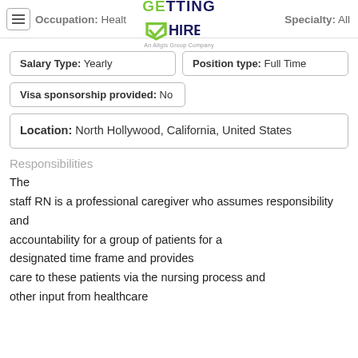Occupation: Health  Specialty: All
[Figure (logo): Getting Hired logo - An Altgis Group Company]
Salary Type: Yearly   Position type: Full Time
Visa sponsorship provided: No
Location: North Hollywood, California, United States
Responsibilities
The staff RN is a professional caregiver who assumes responsibility and accountability for a group of patients for a designated time frame and provides care to these patients via the nursing process and other input from healthcare